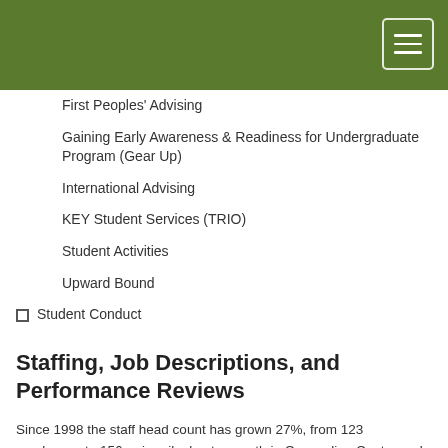First Peoples' Advising
Gaining Early Awareness & Readiness for Undergraduate Program (Gear Up)
International Advising
KEY Student Services (TRIO)
Student Activities
Upward Bound
Student Conduct
Staffing, Job Descriptions, and Performance Reviews
Since 1998 the staff head count has grown 27%, from 123 employees to 156, primarily due to growth in Counseling Center and Enrollment Services staffing, expansion of the Children's Center to serve twice as many children, and implementation of the federally-funded Gear Up grant